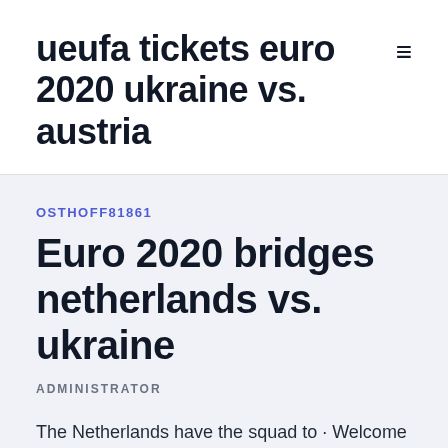ueufa tickets euro 2020 ukraine vs. austria
OSTHOFF81861
Euro 2020 bridges netherlands vs. ukraine
ADMINISTRATOR
The Netherlands have the squad to · Welcome to Sportstar's coverage of the Euro 2020 Group C match between the Netherlands and Ukraine from the Amsterdam Arena. That is all for today.